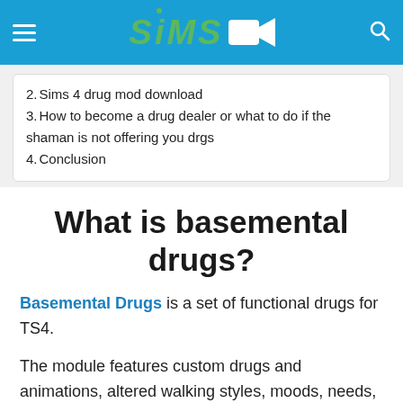SIMS [logo with camera icon]
2. Sims 4 drug mod download
3. How to become a drug dealer or what to do if the shaman is not offering you drgs
4. Conclusion
What is basemental drugs?
Basemental Drugs is a set of functional drugs for TS4.
The module features custom drugs and animations, altered walking styles, moods, needs, come-ups, peaks, hangovers, addiction,